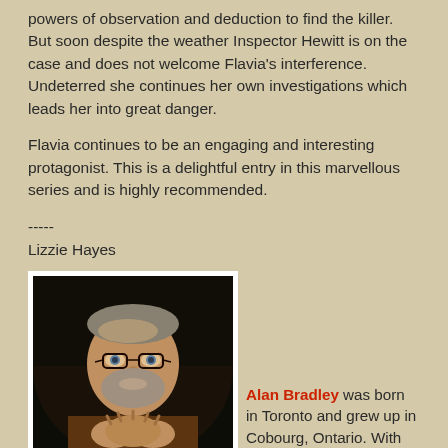powers of observation and deduction to find the killer.  But soon despite the weather Inspector Hewitt is on the case and does not welcome Flavia's interference.  Undeterred she continues her own investigations which leads her into great danger.
Flavia continues to be an engaging and interesting protagonist. This is a delightful entry in this marvellous series and is highly recommended.
-----
Lizzie Hayes
[Figure (photo): Portrait photo of Alan Bradley, an older man with glasses and a grey beard, wearing a brown jacket, hands clasped together]
Alan Bradley was born in Toronto and grew up in Cobourg, Ontario. With an education in electronic engineering, Alan worked at numerous radio